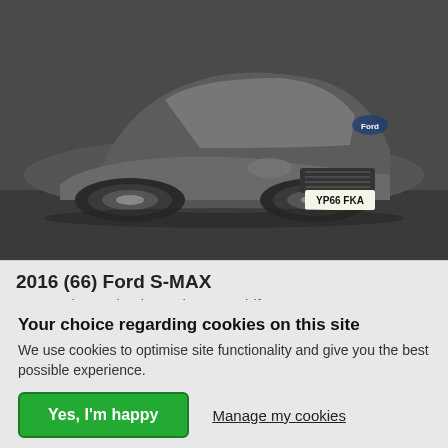[Figure (photo): Front view of a dark grey Ford S-MAX car with registration plate YP66 FKA, photographed from a slightly elevated angle in a car lot or showroom setting.]
2016 (66) Ford S-MAX
2.0 TDCi 150 Titanium 5dr Powershift
Your choice regarding cookies on this site
We use cookies to optimise site functionality and give you the best possible experience.
Yes, I'm happy
Manage my cookies